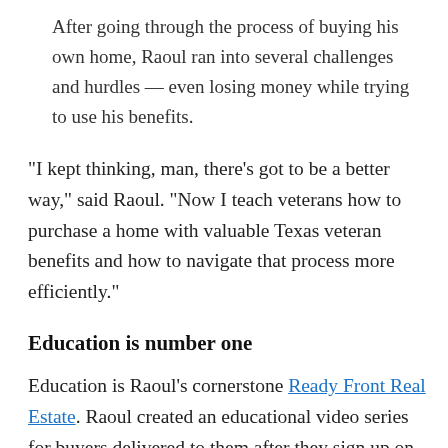After going through the process of buying his own home, Raoul ran into several challenges and hurdles — even losing money while trying to use his benefits.
“I kept thinking, man, there’s got to be a better way,” said Raoul. “Now I teach veterans how to purchase a home with valuable Texas veteran benefits and how to navigate that process more efficiently.”
Education is number one
Education is Raoul’s cornerstone Ready Front Real Estate. Raoul created an educational video series for buyers delivered to them after they sign up on his website. The video series includes shopping for a mortgage and searching for down payment assistance programs. Plus, his buyers have homework to complete